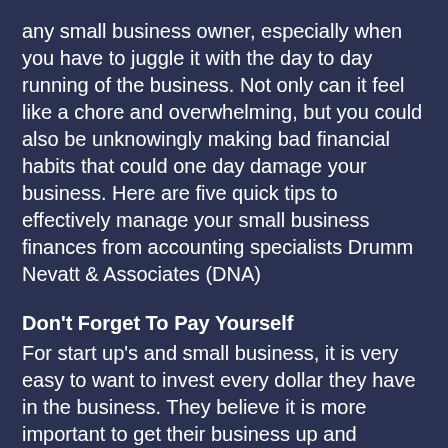any small business owner, especially when you have to juggle it with the day to day running of the business. Not only can it feel like a chore and overwhelming, but you could also be unknowingly making bad financial habits that could one day damage your business. Here are five quick tips to effectively manage your small business finances from accounting specialists Drumm Nevatt & Associates (DNA)
Don't Forget To Pay Yourself
For start up's and small business, it is very easy to want to invest every dollar they have in the business. They believe it is more important to get their business up and running and pay everyone else before themselves. As such, business owners often neglect their role in the company and forget to compensate themselves accordingly. Try starting with paying yourself 10% of the earnings. This a great way to both set-aside money regularly and to test the productivity